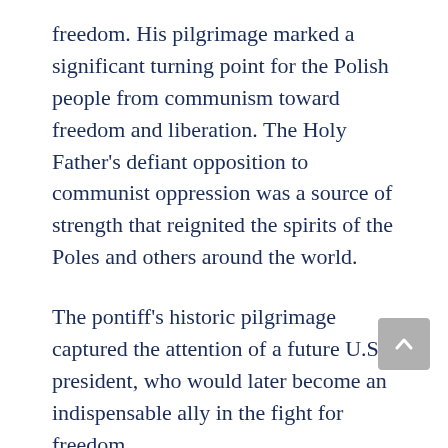freedom. His pilgrimage marked a significant turning point for the Polish people from communism toward freedom and liberation. The Holy Father's defiant opposition to communist oppression was a source of strength that reignited the spirits of the Poles and others around the world.
The pontiff's historic pilgrimage captured the attention of a future U.S. president, who would later become an indispensable ally in the fight for freedom.
At the time of Pope John Paul II's pilgrimage,